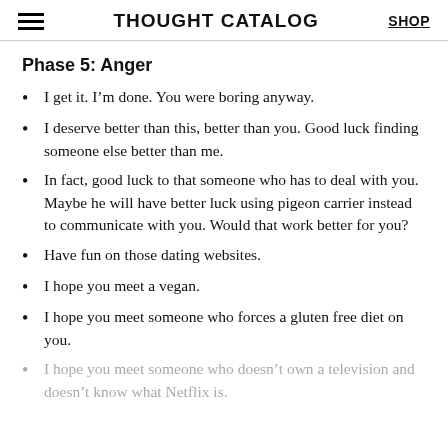THOUGHT CATALOG | SHOP
Phase 5: Anger
I get it. I’m done. You were boring anyway.
I deserve better than this, better than you. Good luck finding someone else better than me.
In fact, good luck to that someone who has to deal with you. Maybe he will have better luck using pigeon carrier instead to communicate with you. Would that work better for you?
Have fun on those dating websites.
I hope you meet a vegan.
I hope you meet someone who forces a gluten free diet on you.
I hope you meet someone who doesn’t own a television and doesn’t know what Netflix is.